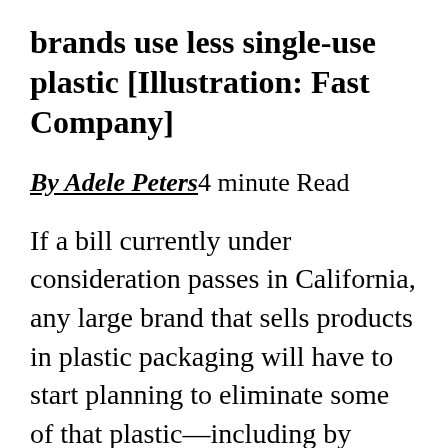brands use less single-use plastic [Illustration: Fast Company]
By Adele Peters4 minute Read
If a bill currently under consideration passes in California, any large brand that sells products in plastic packaging will have to start planning to eliminate some of that plastic—including by switching to some reusable and refillable packaging